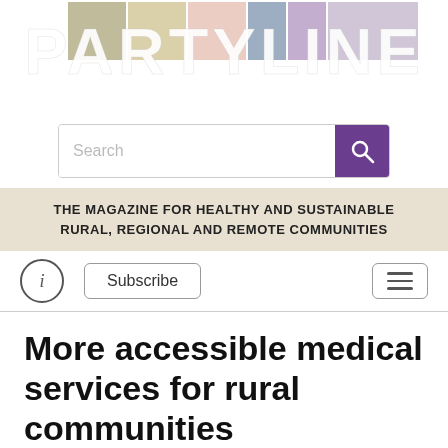[Figure (logo): PARTYLINE magazine logo with colored tile/grid background squares in olive, tan, pink, purple/blue, mauve colors and large white text reading PARTYLINE]
[Figure (screenshot): Search bar with placeholder text 'Search' and a purple search button with magnifying glass icon]
THE MAGAZINE FOR HEALTHY AND SUSTAINABLE RURAL, REGIONAL AND REMOTE COMMUNITIES
[Figure (screenshot): Navigation row with circled i icon, Subscribe button, and hamburger menu button]
More accessible medical services for rural communities
[Figure (photo): Bottom edge of a photo showing two people, partially visible, with a purple/blue background]